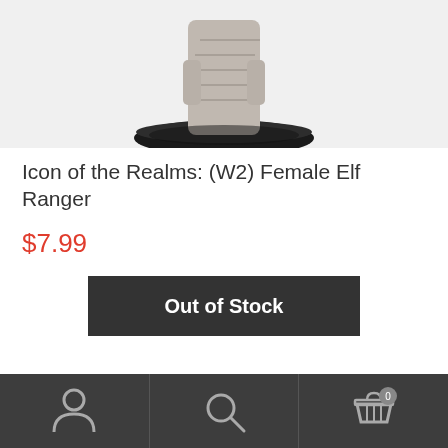[Figure (photo): Top portion of a painted miniature figurine on a black oval base, shown against a light gray background]
Icon of the Realms: (W2) Female Elf Ranger
$7.99
Out of Stock
[Figure (photo): Painted miniature figurine of a female elf ranger with red hair, green cloak, and foliage accessories]
Account | Search | Cart (0)